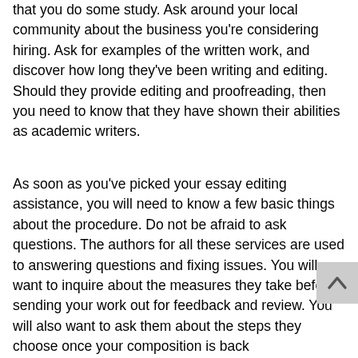that you do some study. Ask around your local community about the business you're considering hiring. Ask for examples of the written work, and discover how long they've been writing and editing. Should they provide editing and proofreading, then you need to know that they have shown their abilities as academic writers.
As soon as you've picked your essay editing assistance, you will need to know a few basic things about the procedure. Do not be afraid to ask questions. The authors for all these services are used to answering questions and fixing issues. You will want to inquire about the measures they take before sending your work out for feedback and review. You will also want to ask them about the steps they choose once your composition is back https://www.masterpapers.com/ on